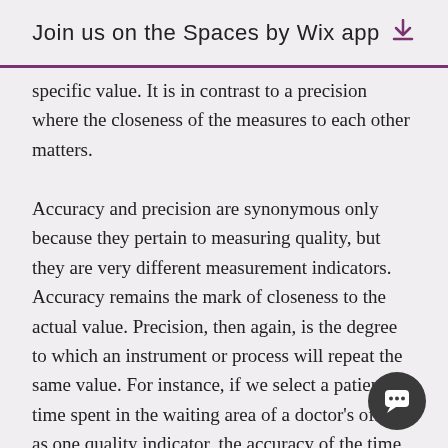Join us on the Spaces by Wix app ⬇
specific value. It is in contrast to a precision where the closeness of the measures to each other matters.

Accuracy and precision are synonymous only because they pertain to measuring quality, but they are very different measurement indicators. Accuracy remains the mark of closeness to the actual value. Precision, then again, is the degree to which an instrument or process will repeat the same value. For instance, if we select a patient's time spent in the waiting area of a doctor's office as one quality indicator, the accuracy of the time measured can vary depending on how we implement it. Furthermore, it is also crucial that we overlook the significance of analyzing such